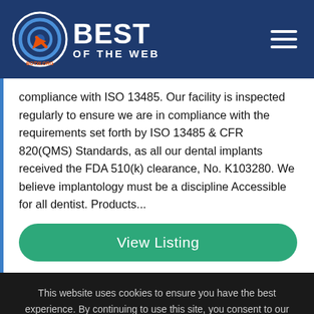[Figure (logo): Best of the Web (BOTW.ORG) logo with circular target icon and BEST OF THE WEB text in white on dark navy background, with hamburger menu icon on the right]
compliance with ISO 13485. Our facility is inspected regularly to ensure we are in compliance with the requirements set forth by ISO 13485 & CFR 820(QMS) Standards, as all our dental implants received the FDA 510(k) clearance, No. K103280. We believe implantology must be a discipline Accessible for all dentist. Products...
View Listing
This website uses cookies to ensure you have the best experience. By continuing to use this site, you consent to our Privacy policy. You can disable cookies at any time, by changing your browser settings.
Close